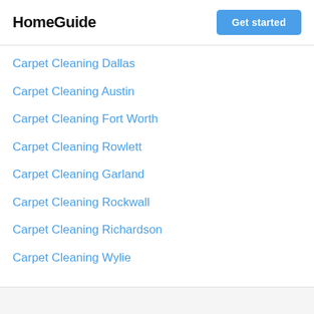HomeGuide | Get started
Carpet Cleaning Dallas
Carpet Cleaning Austin
Carpet Cleaning Fort Worth
Carpet Cleaning Rowlett
Carpet Cleaning Garland
Carpet Cleaning Rockwall
Carpet Cleaning Richardson
Carpet Cleaning Wylie